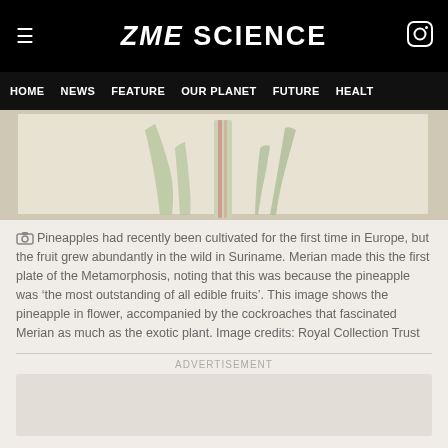ZME SCIENCE
HOME  NEWS  FEATURE  OUR PLANET  FUTURE  HEALTH
[Figure (illustration): Botanical illustration of a pineapple plant in flower with long green leaves and a pink-red striped stem, framed with a white border on a cream background.]
Pineapples had recently been cultivated for the first time in Europe, but the fruit grew abundantly in the wild in Suriname. Merian made this the first plate of the Metamorphosis, noting that this was because the pineapple was 'the most outstanding of all edible fruits'. This image shows the pineapple in flower, accompanied by the cockroaches that fascinated Merian as much as the exotic plant. Image credits: Royal Collection Trust
ADVERTISEMENT